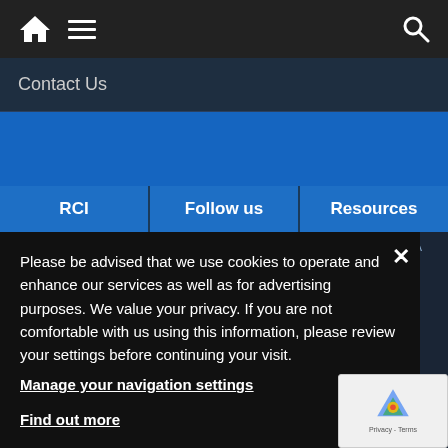[Figure (screenshot): Navigation bar with home icon, hamburger menu, and search icon on dark background]
Contact Us
[Figure (screenshot): Three blue tab buttons: RCI, Follow us, Resources]
Please be advised that we use cookies to operate and enhance our services as well as for advertising purposes. We value your privacy. If you are not comfortable with us using this information, please review your settings before continuing your visit.
Manage your navigation settings
Find out more
[Figure (screenshot): Footer navigation links: FRANCAIS, ENGLISH, Facebook, Twitter, RCI Twitter, RADIO-CANADA, Conditions d'utilisation, Ombudsman, CBC, Impact and Accountability, Ombuds...]
[Figure (screenshot): reCAPTCHA badge in bottom right corner]